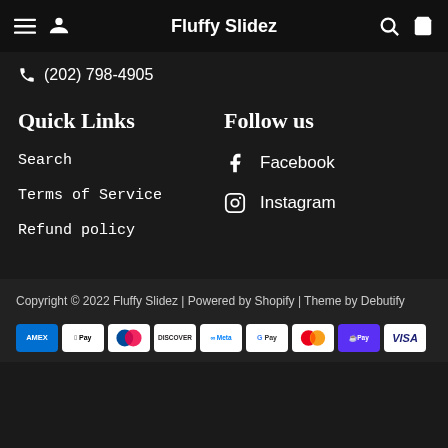Fluffy Slidez
(202) 798-4905
Quick Links
Follow us
Search
Terms of Service
Refund policy
Facebook
Instagram
Copyright © 2022 Fluffy Slidez | Powered by Shopify | Theme by Debutify
[Figure (other): Payment method icons: AMEX, Apple Pay, Diners Club, Discover, Meta Pay, Google Pay, Mastercard, Shop Pay, Visa]